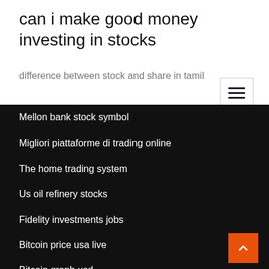can i make good money investing in stocks
difference between stock and share in tamil
Mellon bank stock symbol
Migliori piattaforme di trading online
The home trading system
Us oil refinery stocks
Fidelity investments jobs
Bitcoin price usa live
Bitcoin graph usd
The oil price crash